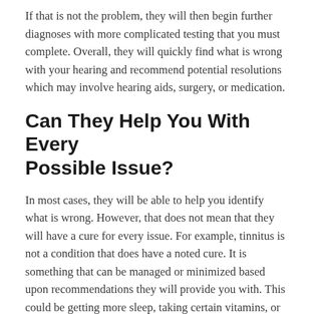If that is not the problem, they will then begin further diagnoses with more complicated testing that you must complete. Overall, they will quickly find what is wrong with your hearing and recommend potential resolutions which may involve hearing aids, surgery, or medication.
Can They Help You With Every Possible Issue?
In most cases, they will be able to help you identify what is wrong. However, that does not mean that they will have a cure for every issue. For example, tinnitus is not a condition that does have a noted cure. It is something that can be managed or minimized based upon recommendations they will provide you with. This could be getting more sleep, taking certain vitamins, or using some type of audio therapy. In regard to other issues, they will present you with options that will eventually lead to helping you hear better than you do right now.